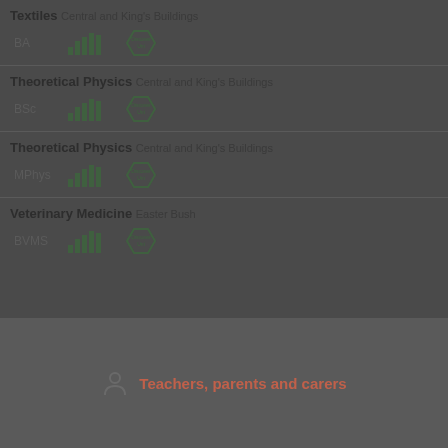Textiles Central and King's Buildings
BA
Theoretical Physics Central and King's Buildings
BSc
Theoretical Physics Central and King's Buildings
MPhys
Veterinary Medicine Easter Bush
BVMS
Teachers, parents and carers